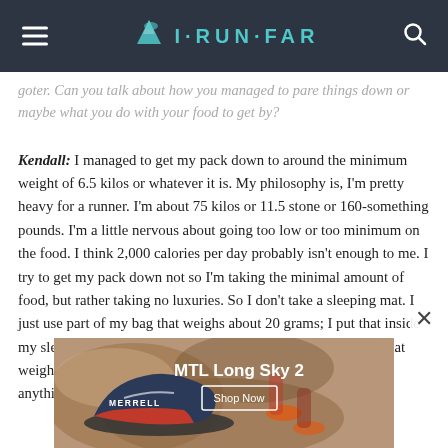I·RUN·FAR
goter. Can you talk about how you managed to pare things down or maybe what you do with your food to get by?
Kendall: I managed to get my pack down to around the minimum weight of 6.5 kilos or whatever it is. My philosophy is, I'm pretty heavy for a runner. I'm about 75 kilos or 11.5 stone or 160-something pounds. I'm a little nervous about going too low or too minimum on the food. I think 2,000 calories per day probably isn't enough to me. I try to get my pack down not so I'm taking the minimal amount of food, but rather taking no luxuries. So I don't take a sleeping mat. I just use part of my bag that weighs about 20 grams; I put that inside my sleeping bag and use that. I take a very light sleeping bag that weighs 300-something grams. I won't take a pair of slippers or anything. I just wear my shoes the
[Figure (photo): Merrell MTL Long Sky 2 shoe advertisement showing a trail shoe in motion on dirt/trail surface with text 'MTL Long Sky 2' and 'Shop Now' button]